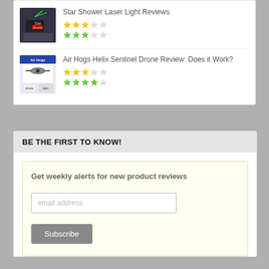Star Shower Laser Light Reviews
[Figure (photo): Star Shower Laser Light product image showing a green laser light device outside a house at night]
★★★☆☆ (yellow, 3/5) and ★★★☆☆ (green, 3/5) star ratings
Air Hogs Helix Sentinel Drone Review: Does it Work?
[Figure (photo): Air Hogs Helix Sentinel Drone product packaging image]
★★★☆☆ (yellow, 3/5) and ★★★☆☆ (green, 4/5) star ratings
BE THE FIRST TO KNOW!
Get weekly alerts for new product reviews
email address
Subscribe